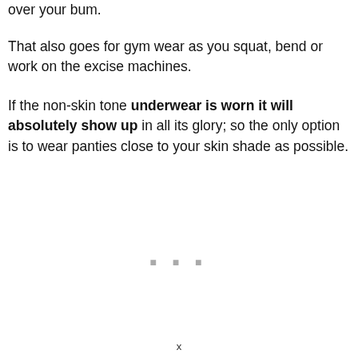over your bum.
That also goes for gym wear as you squat, bend or work on the excise machines.
If the non-skin tone underwear is worn it will absolutely show up in all its glory; so the only option is to wear panties close to your skin shade as possible.
x